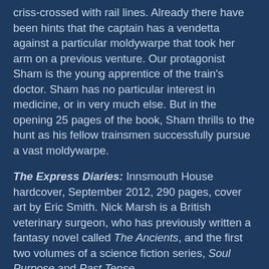criss-crossed with rail lines. Already there have been hints that the captain has a vendetta against a particular moldywarpe that took her arm on a previous venture. Our protagonist Sham is the young apprentice of the train's doctor. Sham has no particular interest in medicine, or in very much else. But in the opening 25 pages of the book, Sham thrills to the hunt as his fellow trainsmen successfully pursue a vast moldywarpe.
The Express Diaries: Innsmouth House hardcover, September 2012, 290 pages, cover art by Eric Smith. Nick Marsh is a British veterinary surgeon, who has previously written a fantasy novel called The Ancients, and the first two volumes of a science fiction series, Soul Purpose and Past Tense.
The Express Diaries is an epistolary novel, set in 1925 and told through the characters' respective diaries, as well as news clippings and other documents which we can imagine inserted into the pages of the diaries. The main characters are all friends of the wealthy and eccentric London widow Betty Sunderland. In the opening 25 pages, one acquaint...